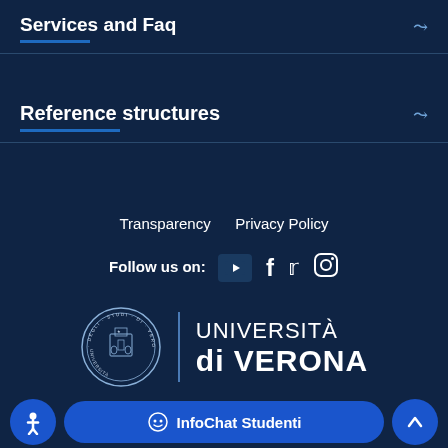Services and Faq
Reference structures
Transparency   Privacy Policy
Follow us on: [YouTube] [Facebook] [Twitter] [Instagram]
[Figure (logo): Università di Verona logo with seal and text: UNIVERSITÀ di VERONA]
Università degli Studi di Verona
Via de...
37125, Verona
InfoChat Studenti